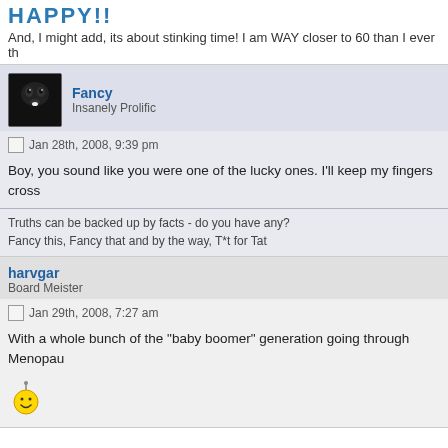HAPPY!! And, I might add, its about stinking time! I am WAY closer to 60 than I ever th
Fancy
Insanely Prolific
Jan 28th, 2008, 9:39 pm
Boy, you sound like you were one of the lucky ones. I'll keep my fingers cross
Truths can be backed up by facts - do you have any?
Fancy this, Fancy that and by the way, T*t for Tat
harvgar
Board Meister
Jan 29th, 2008, 7:27 am
With a whole bunch of the "baby boomer" generation going through Menopau
[Figure (illustration): Yellow smiley face emoji with antenna]